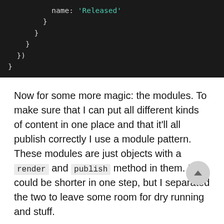[Figure (screenshot): Dark-themed code block showing closing braces and brackets of a JavaScript/JSON object structure, with 'Released' as a cyan-colored string value on the first line.]
Now for some more magic: the modules. To make sure that I can put all different kinds of content in one place and that it'll all publish correctly I use a module pattern. These modules are just objects with a render and publish method in them. It could be shorter in one step, but I separated the two to leave some room for dry running and stuff.
In between the blocks in a page (aka the children mentioned before) get parsed and formatted to work